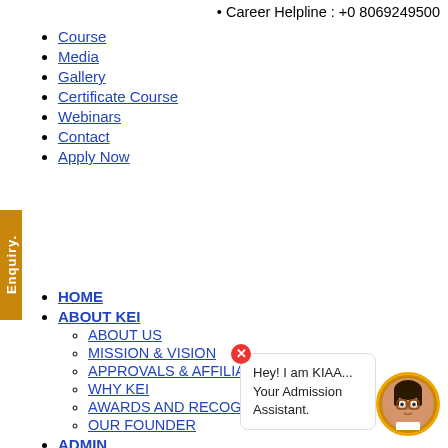Career Helpline : +0 8069249500
Course
Media
Gallery
Certificate Course
Webinars
Contact
Apply Now
HOME
ABOUT KEI
ABOUT US
MISSION & VISION
APPROVALS & AFFILIATIONS
WHY KEI
AWARDS AND RECOGNITION
OUR FOUNDER
ADMIN
CO...
AI...
AN...
OTHER ADMINISTRATIVE CELLS
Hey! I am KIAA... Your Admission Assistant.